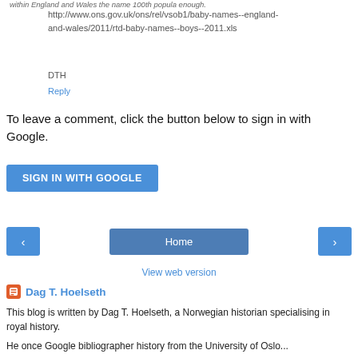within England and Wales the name 100th popula enough.
http://www.ons.gov.uk/ons/rel/vsob1/baby-names--england-and-wales/2011/rtd-baby-names--boys--2011.xls
DTH
Reply
To leave a comment, click the button below to sign in with Google.
SIGN IN WITH GOOGLE
Home
View web version
Dag T. Hoelseth
This blog is written by Dag T. Hoelseth, a Norwegian historian specialising in royal history.
He once Google biblio: a history from the University of Oslo...